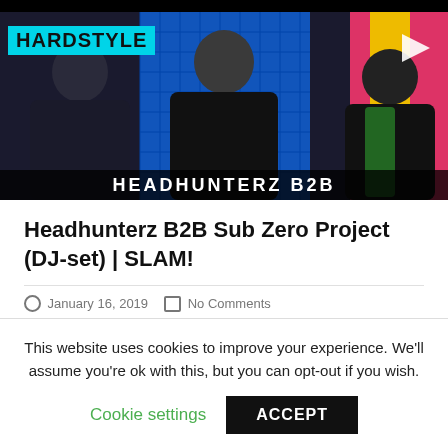[Figure (screenshot): Video thumbnail showing three DJs/performers with 'HARDSTYLE' label in cyan at top left, blue tiled background, play arrow icon at top right, and partial text 'HEADHUNTERZ B2B...' at the bottom]
Headhunterz B2B Sub Zero Project (DJ-set) | SLAM!
January 16, 2019   No Comments
Hardstyle-legends Headhunterz and Sub Zero Project came to our studio to play an awesome set in the SLAM! DJ booth. More live DJ
This website uses cookies to improve your experience. We'll assume you're ok with this, but you can opt-out if you wish.
Cookie settings   ACCEPT